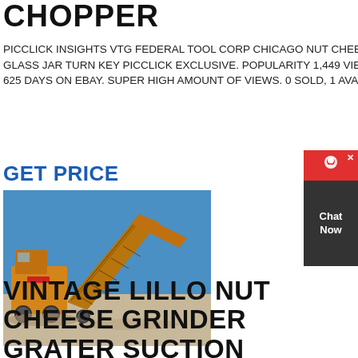CHOPPER
PICCLICK INSIGHTS VTG FEDERAL TOOL CORP CHICAGO NUT CHEESE CHOPPER GRINDER GLASS JAR TURN KEY PICCLICK EXCLUSIVE. POPULARITY 1,449 VIEWS, 2.3 VIEWS PER DAY, 625 DAYS ON EBAY. SUPER HIGH AMOUNT OF VIEWS. 0 SOLD, 1 AVAILABLE.
GET PRICE
[Figure (photo): Yellow industrial machinery / mining equipment with conveyor belt arms against a blue sky]
[Figure (other): Chat Now widget — red header with chat icon and X close button, dark body with Chat Now text]
VINTAGE LILLO NUT CHEESE GRINDER GRATER SUCTION BOTTOM